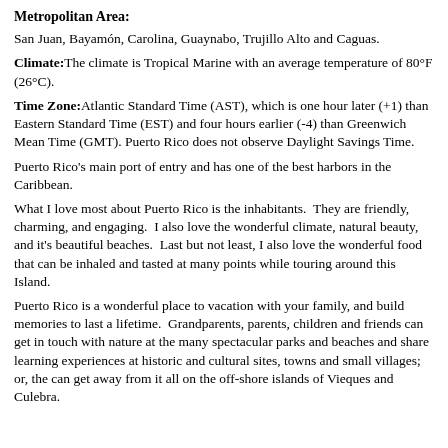Metropolitan Area:
San Juan, Bayamón, Carolina, Guaynabo, Trujillo Alto and Caguas.
Climate: The climate is Tropical Marine with an average temperature of 80°F (26°C).
Time Zone: Atlantic Standard Time (AST), which is one hour later (+1) than Eastern Standard Time (EST) and four hours earlier (-4) than Greenwich Mean Time (GMT). Puerto Rico does not observe Daylight Savings Time.
Puerto Rico's main port of entry and has one of the best harbors in the Caribbean.
What I love most about Puerto Rico is the inhabitants.  They are friendly, charming, and engaging.  I also love the wonderful climate, natural beauty, and it's beautiful beaches.  Last but not least, I also love the wonderful food that can be inhaled and tasted at many points while touring around this Island.
Puerto Rico is a wonderful place to vacation with your family, and build memories to last a lifetime.  Grandparents, parents, children and friends can get in touch with nature at the many spectacular parks and beaches and share learning experiences at historic and cultural sites, towns and small villages; or, the can get away from it all on the off-shore islands of Vieques and Culebra.